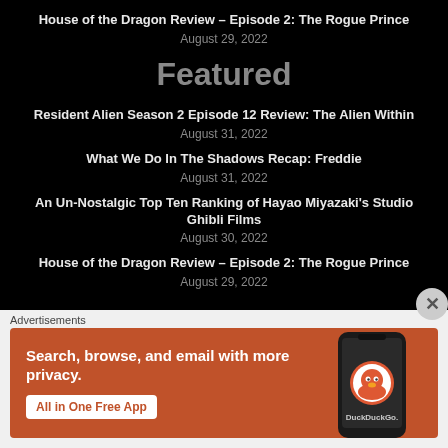House of the Dragon Review – Episode 2: The Rogue Prince
August 29, 2022
Featured
Resident Alien Season 2 Episode 12 Review: The Alien Within
August 31, 2022
What We Do In The Shadows Recap: Freddie
August 31, 2022
An Un-Nostalgic Top Ten Ranking of Hayao Miyazaki's Studio Ghibli Films
August 30, 2022
House of the Dragon Review – Episode 2: The Rogue Prince
August 29, 2022
Advertisements
[Figure (screenshot): DuckDuckGo ad banner: orange background with phone image, text 'Search, browse, and email with more privacy. All in One Free App' and DuckDuckGo logo]